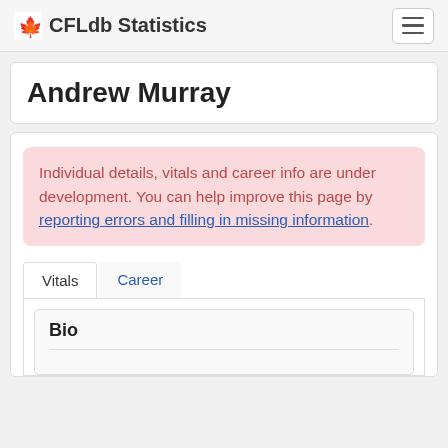CFLdb Statistics
Andrew Murray
Individual details, vitals and career info are under development. You can help improve this page by reporting errors and filling in missing information.
Vitals  Career
Bio